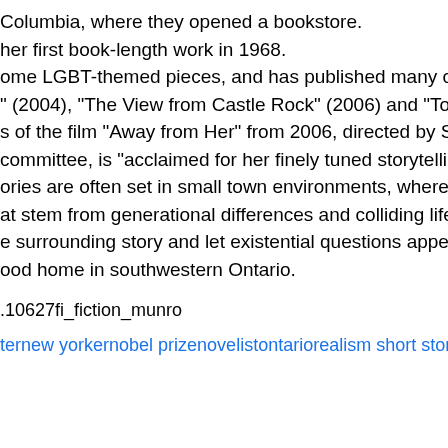Columbia, where they opened a bookstore. her first book-length work in 1968. ome LGBT-themed pieces, and has published many collections over " (2004), "The View from Castle Rock" (2006) and "Too Much Happi s of the film "Away from Her" from 2006, directed by Sarah Polley. H committee, is "acclaimed for her finely tuned storytelling, which is c ories are often set in small town environments, where the struggle fo at stem from generational differences and colliding life ambitions. He e surrounding story and let existential questions appear in a flash of ood home in southwestern Ontario.
.10627fi_fiction_munro
ternew yorkernobel prizenovelistontariorealism short storiesstraightw